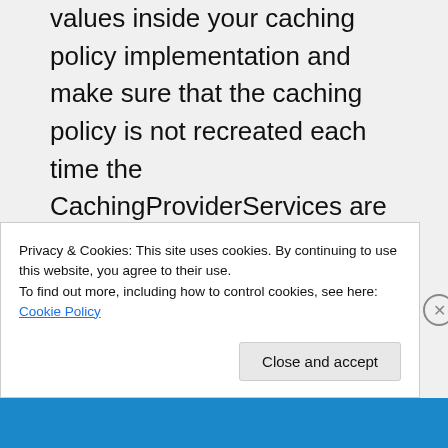values inside your caching policy implementation and make sure that the caching policy is not recreated each time the CachingProviderServices are instantiated (i.e. create an instance of your caching policy beforehand outside the Load event registration and pass this instance to the
Privacy & Cookies: This site uses cookies. By continuing to use this website, you agree to their use.
To find out more, including how to control cookies, see here: Cookie Policy